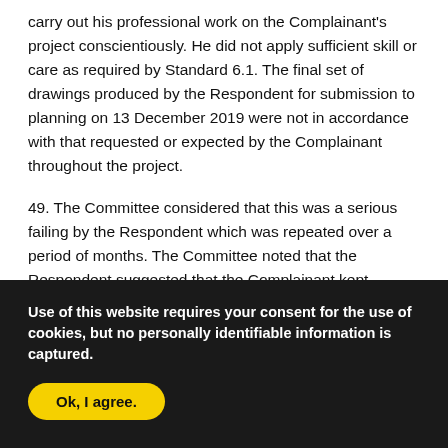carry out his professional work on the Complainant's project conscientiously. He did not apply sufficient skill or care as required by Standard 6.1. The final set of drawings produced by the Respondent for submission to planning on 13 December 2019 were not in accordance with that requested or expected by the Complainant throughout the project.
49. The Committee considered that this was a serious failing by the Respondent which was repeated over a period of months. The Committee noted that the Respondent suggested that the Complainant kept changing his mind, and that he was constrained by the lack of clarity of the boundary layout with the Complainant's neighbour. However, the Committee did not
Use of this website requires your consent for the use of cookies, but no personally identifiable information is captured.
Ok, I agree.